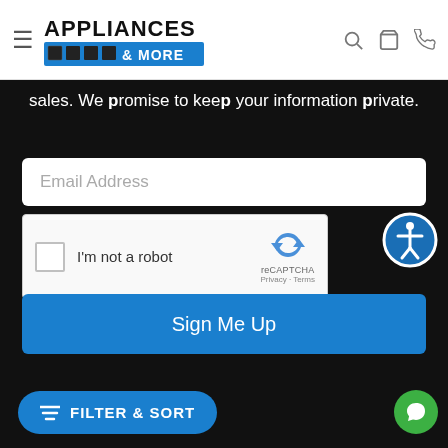[Figure (logo): Appliances & More logo with appliance icons]
sales. We promise to keep your information private.
[Figure (screenshot): Email Address input field]
[Figure (screenshot): reCAPTCHA widget with I'm not a robot checkbox]
[Figure (screenshot): Sign Me Up button]
[Figure (screenshot): FILTER & SORT button]
[Figure (screenshot): Green chat bubble button]